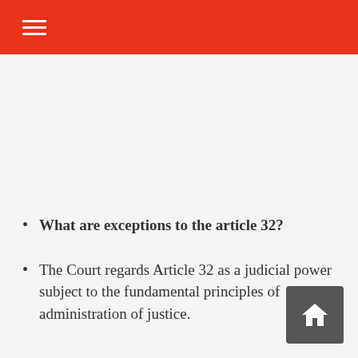☰
What are exceptions to the article 32?
The Court regards Article 32 as a judicial power subject to the fundamental principles of administration of justice.